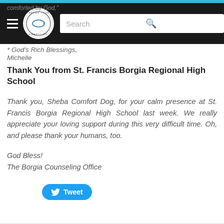comforted by God," * God's Rich Blessings, Michelle
Thank You from St. Francis Borgia Regional High School
Thank you, Sheba Comfort Dog, for your calm presence at St. Francis Borgia Regional High School last week. We really appreciate your loving support during this very difficult time. Oh, and please thank your humans, too.
God Bless!
The Borgia Counseling Office